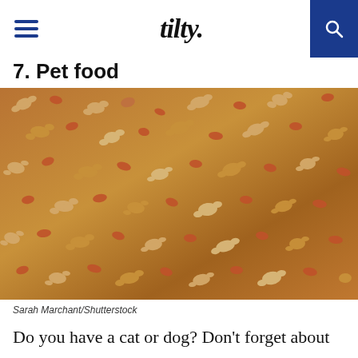tilty.
7. Pet food
[Figure (photo): Close-up photograph of dry pet food kibble in various bone and heart shapes, tan and reddish-brown colors, filling the entire frame.]
Sarah Marchant/Shutterstock
Do you have a cat or dog? Don't forget about